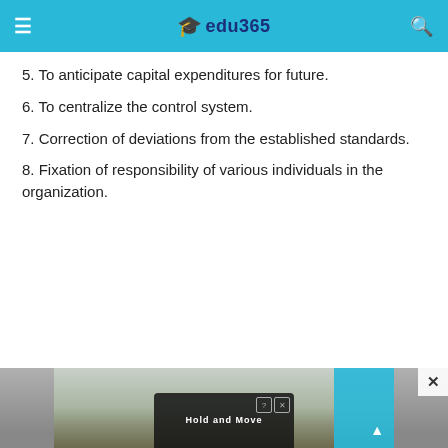edu365
5. To anticipate capital expenditures for future.
6. To centralize the control system.
7. Correction of deviations from the established standards.
8. Fixation of responsibility of various individuals in the organization.
[Figure (screenshot): Advertisement banner at bottom of page showing outdoor/sports content with Hold and Move label and a close button]